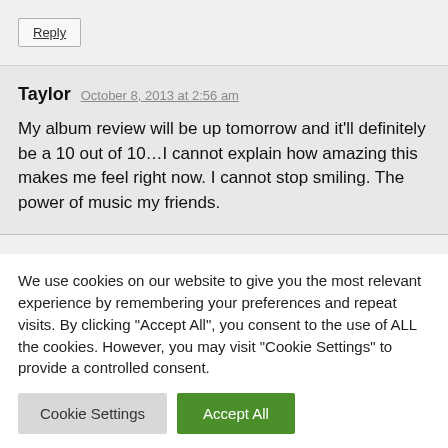Reply
Taylor   October 8, 2013 at 2:56 am
My album review will be up tomorrow and it'll definitely be a 10 out of 10…I cannot explain how amazing this makes me feel right now. I cannot stop smiling. The power of music my friends.
We use cookies on our website to give you the most relevant experience by remembering your preferences and repeat visits. By clicking "Accept All", you consent to the use of ALL the cookies. However, you may visit "Cookie Settings" to provide a controlled consent.
Cookie Settings
Accept All